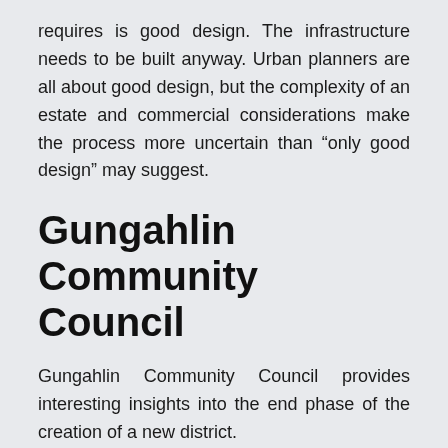requires is good design. The infrastructure needs to be built anyway. Urban planners are all about good design, but the complexity of an estate and commercial considerations make the process more uncertain than “only good design” may suggest.
Gungahlin Community Council
Gungahlin Community Council provides interesting insights into the end phase of the creation of a new district.
The ACT Government had planned to duplicate Well Station Drive, south of Harrison and north of the new suburb of Kenny. COVID-19 changed all that. The Kenny High School has been fast tracked for